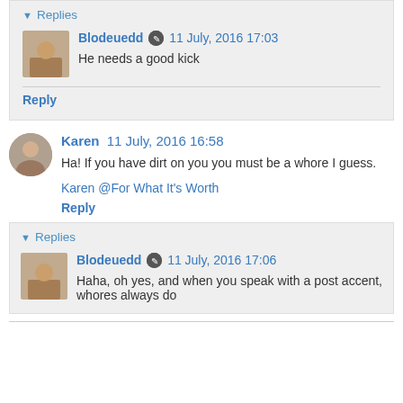▾ Replies
Blodeuedd ✏ 11 July, 2016 17:03
He needs a good kick
Reply
Karen 11 July, 2016 16:58
Ha! If you have dirt on you you must be a whore I guess.
Karen @For What It's Worth
Reply
▾ Replies
Blodeuedd ✏ 11 July, 2016 17:06
Haha, oh yes, and when you speak with a post accent, whores always do